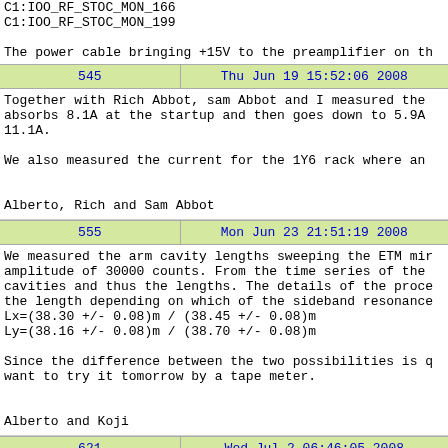C1:IOO_RF_STOC_MON_166
C1:IOO_RF_STOC_MON_199

The power cable bringing +15V to the preamplifier on th
| 545 | Thu Jun 19 15:52:06 2008 |
| --- | --- |
Together with Rich Abbot, sam Abbot and I measured the
absorbs 8.1A at the startup and then goes down to 5.9A
11.1A.

We also measured the current for the 1Y6 rack where an


Alberto, Rich and Sam Abbot
| 555 | Mon Jun 23 21:51:19 2008 |
| --- | --- |
We measured the arm cavity lengths sweeping the ETM mir
amplitude of 30000 counts. From the time series of the
cavities and thus the lengths. The details of the proce
the length depending on which of the sideband resonance
Lx=(38.30 +/- 0.08)m / (38.45 +/- 0.08)m
Ly=(38.16 +/- 0.08)m / (38.70 +/- 0.08)m

Since the difference between the two possibilities is q
want to try it tomorrow by a tape meter.


Alberto and Koji
| 621 | Wed Jul 2 06:46:05 2008 |
| --- | --- |